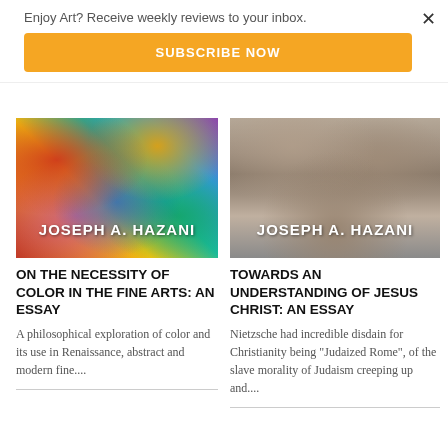Enjoy Art? Receive weekly reviews to your inbox.
SUBSCRIBE NOW
[Figure (illustration): Book cover with abstract colorful painting (Kandinsky-style) and author name JOSEPH A. HAZANI]
ON THE NECESSITY OF COLOR IN THE FINE ARTS: AN ESSAY
A philosophical exploration of color and its use in Renaissance, abstract and modern fine....
[Figure (illustration): Book cover with stone arch fresco image and author name JOSEPH A. HAZANI]
TOWARDS AN UNDERSTANDING OF JESUS CHRIST: AN ESSAY
Nietzsche had incredible disdain for Christianity being "Judaized Rome", of the slave morality of Judaism creeping up and....